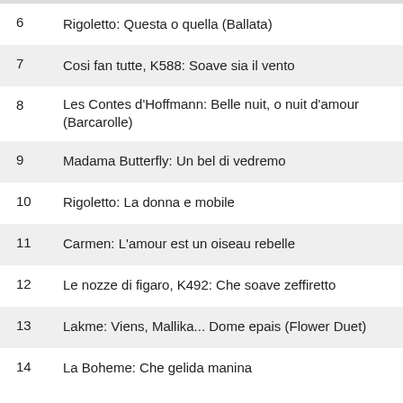6  Rigoletto: Questa o quella (Ballata)
7  Cosi fan tutte, K588: Soave sia il vento
8  Les Contes d'Hoffmann: Belle nuit, o nuit d'amour (Barcarolle)
9  Madama Butterfly: Un bel di vedremo
10  Rigoletto: La donna e mobile
11  Carmen: L'amour est un oiseau rebelle
12  Le nozze di figaro, K492: Che soave zeffiretto
13  Lakme: Viens, Mallika... Dome epais (Flower Duet)
14  La Boheme: Che gelida manina